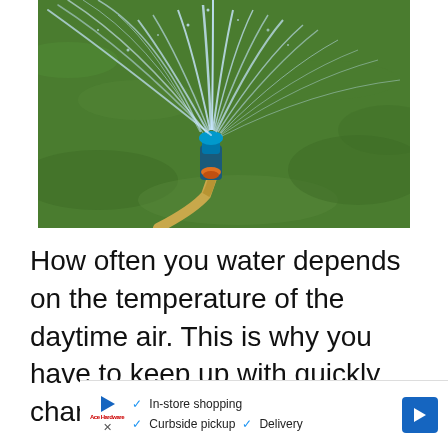[Figure (photo): Photograph of a lawn sprinkler spraying water over bright green grass. A blue sprinkler head is connected to a yellow/tan hose and sprays water in a wide fan pattern.]
How often you water depends on the temperature of the daytime air. This is why you have to keep up with quickly changing temperatures
[Figure (infographic): Advertisement banner showing a blue play button icon, a red brand logo (Ace Hardware style), an X close icon, checkmarks next to 'In-store shopping', 'Curbside pickup', 'Delivery', and a blue diamond-shaped arrow icon on the right.]